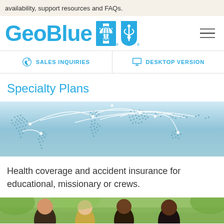availability, support resources and FAQs.
[Figure (logo): GeoBlue logo with Blue Cross Blue Shield icons]
SALES INQUIRIES   DESKTOP VERSION
Specialty Plans
[Figure (illustration): World map illustration with dotted continents and white arc connection lines on a light blue gradient background]
Health coverage and accident insurance for educational, missionary or crews.
[Figure (photo): Group of diverse young people outdoors, smiling, with green trees in background]